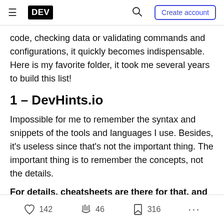DEV | Create account
code, checking data or validating commands and configurations, it quickly becomes indispensable. Here is my favorite folder, it took me several years to build this list!
1 – DevHints.io
Impossible for me to remember the syntax and snippets of the tools and languages I use. Besides, it's useless since that's not the important thing. The important thing is to remember the concepts, not the details.
For details, cheatsheets are there for that, and
142  46  316